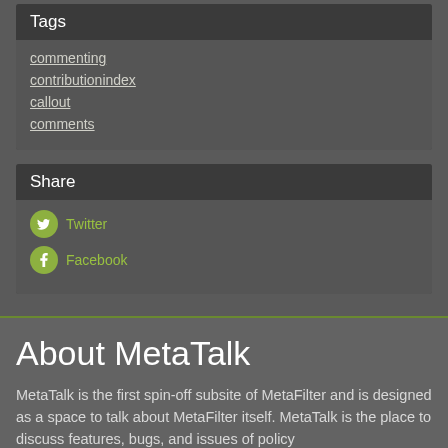Tags
commenting
contributionindex
callout
comments
Share
Twitter
Facebook
About MetaTalk
MetaTalk is the first spin-off subsite of MetaFilter and is designed as a space to talk about MetaFilter itself. MetaTalk is the place to discuss features, bugs, and issues of policy